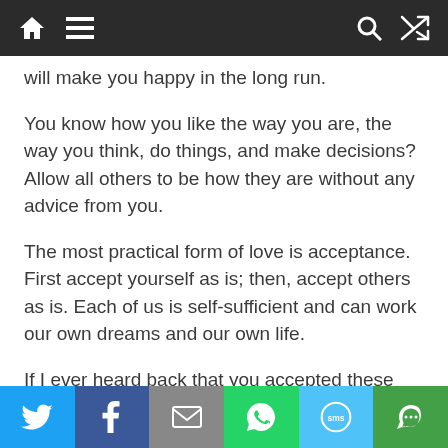[Navigation bar with home, menu, search, shuffle icons]
will make you happy in the long run.
You know how you like the way you are, the way you think, do things, and make decisions? Allow all others to be how they are without any advice from you.
The most practical form of love is acceptance. First accept yourself as is; then, accept others as is. Each of us is self-sufficient and can work our own dreams and our own life.
If I ever heard back that you accepted these ideas without testing for their validity, I’d feel sad. Test, test, test. Life is really a science and you can
Share bar: Twitter, Facebook, Email, WhatsApp, SMS, More